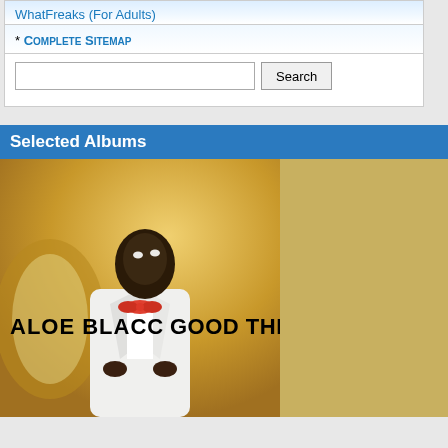WhatFreaks (For Adults)
* Complete Sitemap
[Figure (screenshot): Search box with text input field and Search button]
Selected Albums
[Figure (photo): Album cover: Aloe Blacc – Good Things. Man in white suit with red bow tie looking up, warm golden background.]